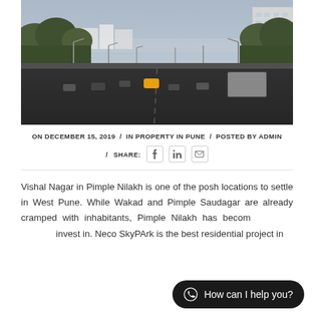[Figure (photo): Street-level photograph of a wide urban road in Pune (Pimple Nilakh area) with traffic including motorcycles and a truck, flanked by trees and buildings under a hazy sky.]
ON DECEMBER 15, 2019  /  IN PROPERTY IN PUNE  /  POSTED BY ADMIN
/  SHARE:  [facebook icon]  [linkedin icon]  [email icon]
Vishal Nagar in Pimple Nilakh is one of the posh locations to settle in West Pune. While Wakad and Pimple Saudagar are already cramped with inhabitants, Pimple Nilakh has become... invest in. Neco SkyPArk is the best residential project in